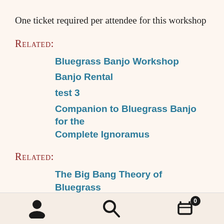One ticket required per attendee for this workshop
Related:
Bluegrass Banjo Workshop
Banjo Rental
test 3
Companion to Bluegrass Banjo for the Complete Ignoramus
Related:
The Big Bang Theory of Bluegrass
User | Search | Cart (0)